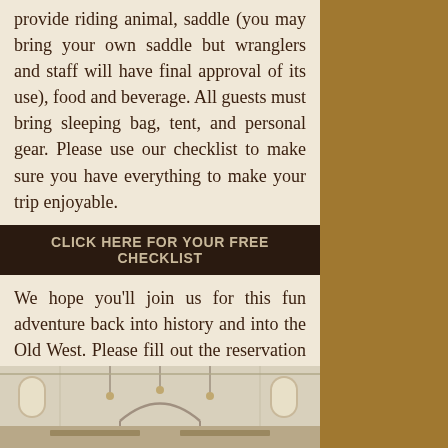provide riding animal, saddle (you may bring your own saddle but wranglers and staff will have final approval of its use), food and beverage. All guests must bring sleeping bag, tent, and personal gear. Please use our checklist to make sure you have everything to make your trip enjoyable.
CLICK HERE FOR YOUR FREE CHECKLIST
We hope you'll join us for this fun adventure back into history and into the Old West. Please fill out the reservation form below and book your trip today. We look forward to riding with you!
[Figure (photo): Interior of an old church or barn with arched windows letting in light, hanging light fixtures, and wooden benches visible. High ceiling with structural beams.]